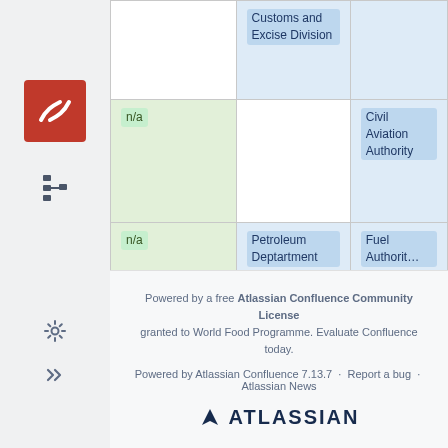|  | Customs and Excise Division |  |
| n/a |  | Civil Aviation Authority |
| n/a | Petroleum Deptartment | Fuel Authority |
Powered by a free Atlassian Confluence Community License granted to World Food Programme. Evaluate Confluence today. Powered by Atlassian Confluence 7.13.7 · Report a bug · Atlassian News